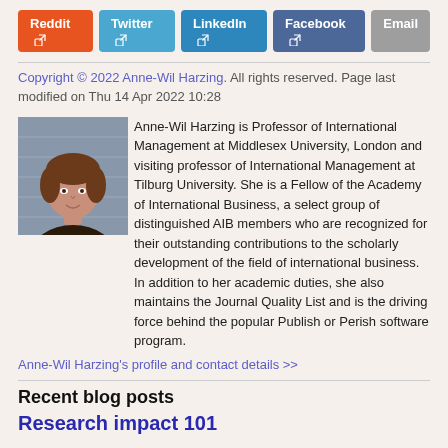Reddit  Twitter  LinkedIn  Facebook  Email
Copyright © 2022 Anne-Wil Harzing. All rights reserved. Page last modified on Thu 14 Apr 2022 10:28
[Figure (photo): Headshot photo of Anne-Wil Harzing]
Anne-Wil Harzing is Professor of International Management at Middlesex University, London and visiting professor of International Management at Tilburg University. She is a Fellow of the Academy of International Business, a select group of distinguished AIB members who are recognized for their outstanding contributions to the scholarly development of the field of international business. In addition to her academic duties, she also maintains the Journal Quality List and is the driving force behind the popular Publish or Perish software program.
Anne-Wil Harzing's profile and contact details >>
Recent blog posts
Research impact 101